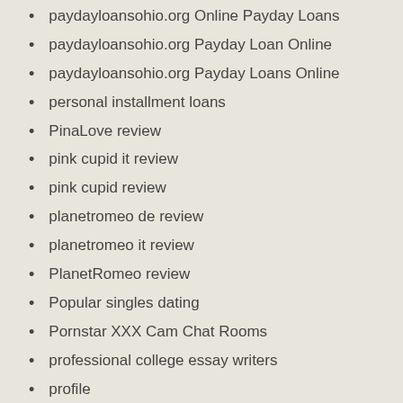paydayloansohio.org Online Payday Loans
paydayloansohio.org Payday Loan Online
paydayloansohio.org Payday Loans Online
personal installment loans
PinaLove review
pink cupid it review
pink cupid review
planetromeo de review
planetromeo it review
PlanetRomeo review
Popular singles dating
Pornstar XXX Cam Chat Rooms
professional college essay writers
profile
profiles